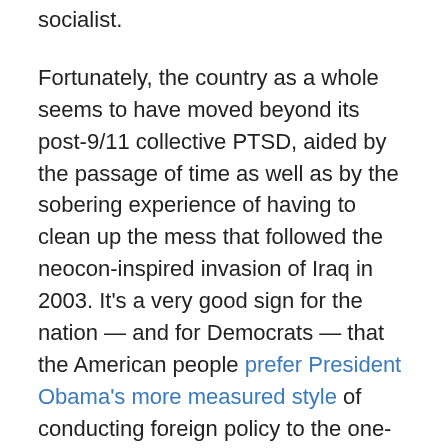socialist.
Fortunately, the country as a whole seems to have moved beyond its post-9/11 collective PTSD, aided by the passage of time as well as by the sobering experience of having to clean up the mess that followed the neocon-inspired invasion of Iraq in 2003. It's a very good sign for the nation — and for Democrats — that the American people prefer President Obama's more measured style of conducting foreign policy to the one-size-fits-all bellicosity favored by the neocon-infatuated GOP.
Obama has managed to lead the U.S. through a period of considerable global volatility with only minor missteps — and he's been able to do so because his approach to foreign policymaking is shaped by a clear-eyed assessment of the emerging post-Cold War world order.